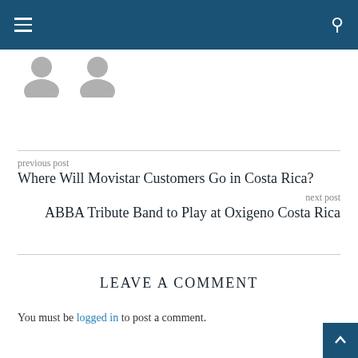Navigation header with hamburger menu and search icon
[Figure (illustration): Two gray avatar/profile placeholder icons side by side]
previous post
Where Will Movistar Customers Go in Costa Rica?
next post
ABBA Tribute Band to Play at Oxigeno Costa Rica
LEAVE A COMMENT
You must be logged in to post a comment.